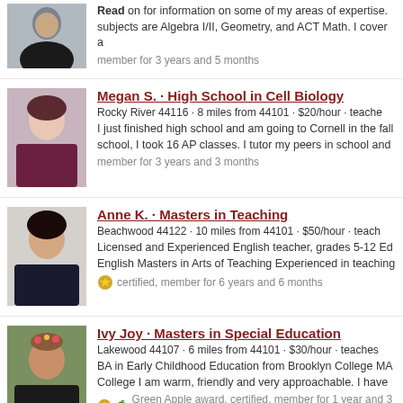[Figure (photo): Partial tutor profile photo, man in dark shirt]
Read on for information on some of my areas of expertise. subjects are Algebra I/II, Geometry, and ACT Math. I cover a
member for 3 years and 5 months
[Figure (photo): Megan S. profile photo, young woman with dark hair in purple/maroon top]
Megan S. · High School in Cell Biology
Rocky River 44116 · 8 miles from 44101 · $20/hour · teache
I just finished high school and am going to Cornell in the fall school, I took 16 AP classes. I tutor my peers in school and
member for 3 years and 3 months
[Figure (photo): Anne K. profile photo, woman with dark hair against light background]
Anne K. · Masters in Teaching
Beachwood 44122 · 10 miles from 44101 · $50/hour · teach
Licensed and Experienced English teacher, grades 5-12 Ed English Masters in Arts of Teaching Experienced in teaching
certified, member for 6 years and 6 months
[Figure (photo): Ivy Joy profile photo, smiling woman with flowers in hair outdoors]
Ivy Joy · Masters in Special Education
Lakewood 44107 · 6 miles from 44101 · $30/hour · teaches
BA in Early Childhood Education from Brooklyn College MA College I am warm, friendly and very approachable. I have
Green Apple award, certified, member for 1 year and 3 month
[Figure (photo): Malavika R. partial profile photo at bottom of page]
Malavika R.